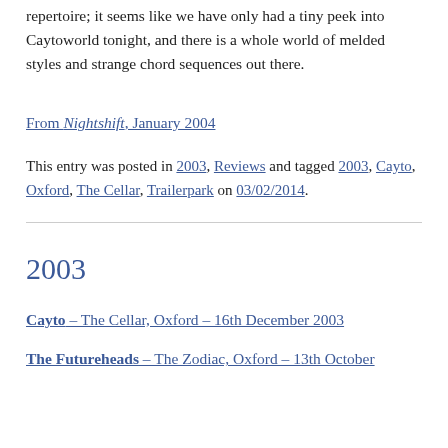repertoire; it seems like we have only had a tiny peek into Caytoworld tonight, and there is a whole world of melded styles and strange chord sequences out there.
From Nightshift, January 2004
This entry was posted in 2003, Reviews and tagged 2003, Cayto, Oxford, The Cellar, Trailerpark on 03/02/2014.
2003
Cayto – The Cellar, Oxford – 16th December 2003
The Futureheads – The Zodiac, Oxford – 13th October